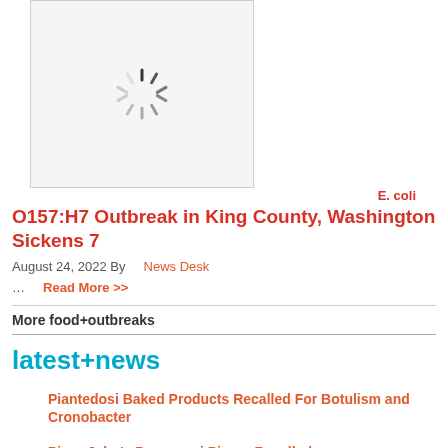[Figure (other): Loading spinner / image placeholder with gray border and spinning wheel icon]
E. coli O157:H7 Outbreak in King County, Washington Sickens 7
August 24, 2022 By   News Desk
...   Read More >>
More food+outbreaks
latest+news
Piantedosi Baked Products Recalled For Botulism and Cronobacter
Pizza John's Pepperoni Pizzas Recalled